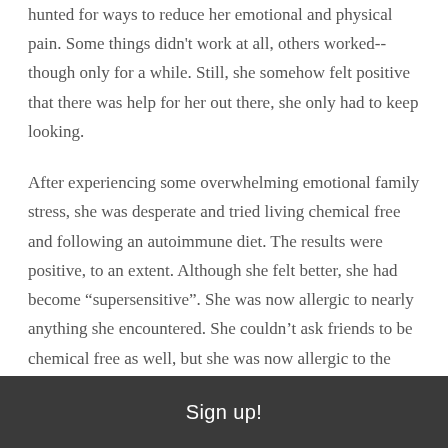hunted for ways to reduce her emotional and physical pain. Some things didn't work at all, others worked--though only for a while. Still, she somehow felt positive that there was help for her out there, she only had to keep looking.
After experiencing some overwhelming emotional family stress, she was desperate and tried living chemical free and following an autoimmune diet. The results were positive, to an extent. Although she felt better, she had become “supersensitive”. She was now allergic to nearly anything she encountered. She couldn’t ask friends to be chemical free as well, but she was now allergic to the soap, perfume, hair care and laundry products they used, so she was allergic to them. “What am I to do?” she asked herself. She
Sign up!